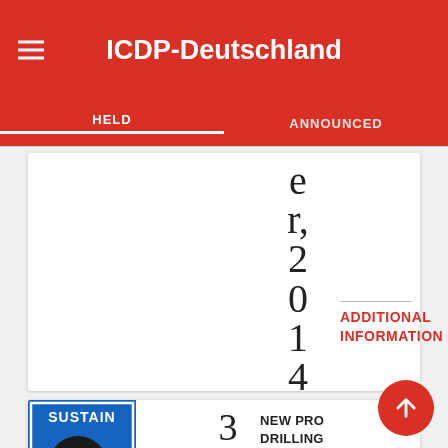ICDP-Deutschland
HELD   ANNOUNCED
e r, 2 0 1 4
ADDITIONAL INFORMATION
[Figure (photo): SUSTAIN project logo - blue background with rock/fossil image and text SUSTAIN 2017]
3 0
NEW PRO DRILLING SURTSEY